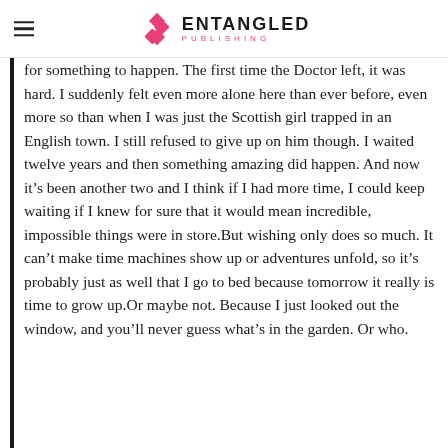ENTANGLED PUBLISHING
for something to happen. The first time the Doctor left, it was hard. I suddenly felt even more alone here than ever before, even more so than when I was just the Scottish girl trapped in an English town. I still refused to give up on him though. I waited twelve years and then something amazing did happen. And now it’s been another two and I think if I had more time, I could keep waiting if I knew for sure that it would mean incredible, impossible things were in store. But wishing only does so much. It can’t make time machines show up or adventures unfold, so it’s probably just as well that I go to bed because tomorrow it really is time to grow up. Or maybe not. Because I just looked out the window, and you’ll never guess what’s in the garden. Or who.